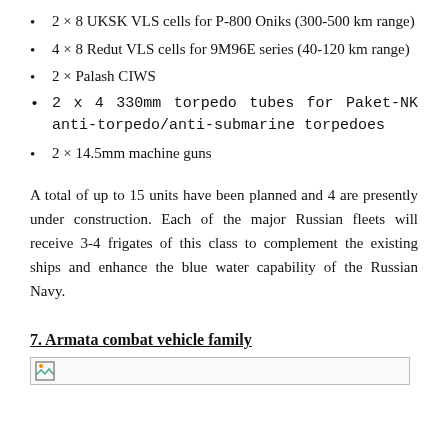2 × 8 UKSK VLS cells for P-800 Oniks (300-500 km range)
4 × 8 Redut VLS cells for 9M96E series (40-120 km range)
2 × Palash CIWS
2 x 4 330mm torpedo tubes for Paket-NK anti-torpedo/anti-submarine torpedoes
2 × 14.5mm machine guns
A total of up to 15 units have been planned and 4 are presently under construction. Each of the major Russian fleets will receive 3-4 frigates of this class to complement the existing ships and enhance the blue water capability of the Russian Navy.
7.  Armata combat vehicle family
[Figure (photo): Image placeholder at bottom of page]